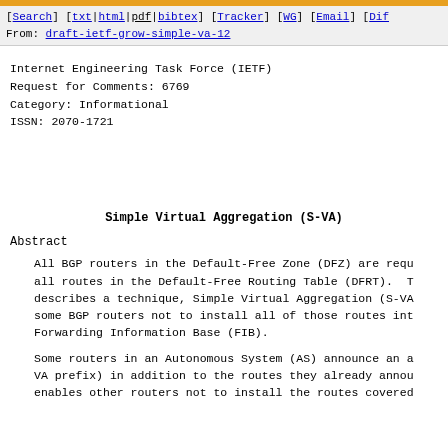[Search] [txt|html|pdf|bibtex] [Tracker] [WG] [Email] [Dif
From: draft-ietf-grow-simple-va-12
Internet Engineering Task Force (IETF)
Request for Comments: 6769
Category: Informational
ISSN: 2070-1721
Simple Virtual Aggregation (S-VA)
Abstract
All BGP routers in the Default-Free Zone (DFZ) are requ
all routes in the Default-Free Routing Table (DFRT). T
describes a technique, Simple Virtual Aggregation (S-VA
some BGP routers not to install all of those routes int
Forwarding Information Base (FIB).
Some routers in an Autonomous System (AS) announce an a
VA prefix) in addition to the routes they already annou
enables other routers not to install the routes covered